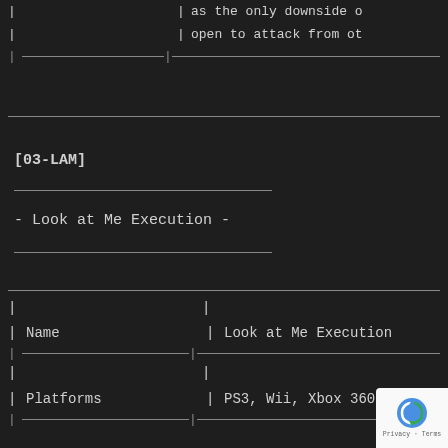|  | as the only downside o |
|  | open to attack from ot |
|  |  |
[03-LAM]
- Look at Me Execution -
|  |  |
| --- | --- |
|  |  |
| Name | Look at Me Execution |
|  |  |
|  |  |
| Platforms | PS3, Wii, Xbox 360 |
|  |  |